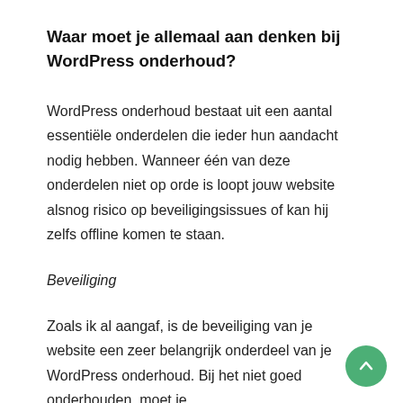Waar moet je allemaal aan denken bij WordPress onderhoud?
WordPress onderhoud bestaat uit een aantal essentiële onderdelen die ieder hun aandacht nodig hebben. Wanneer één van deze onderdelen niet op orde is loopt jouw website alsnog risico op beveiligingsissues of kan hij zelfs offline komen te staan.
Beveiliging
Zoals ik al aangaf, is de beveiliging van je website een zeer belangrijk onderdeel van je WordPress onderhoud. Bij het niet goed onderhouden, moet je